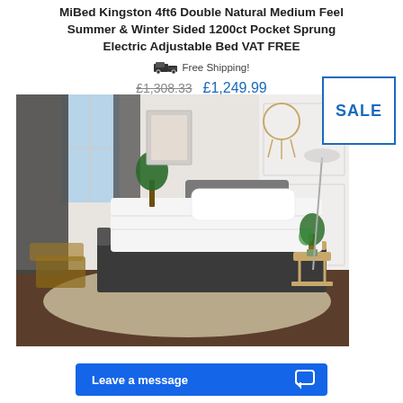MiBed Kingston 4ft6 Double Natural Medium Feel Summer & Winter Sided 1200ct Pocket Sprung Electric Adjustable Bed VAT FREE
Free Shipping!
£1,308.33  £1,249.99
[Figure (photo): Electric adjustable bed with white mattress and pillow in a modern bedroom setting with dark curtains and grey upholstered base, with a SALE badge overlay]
Leave a message